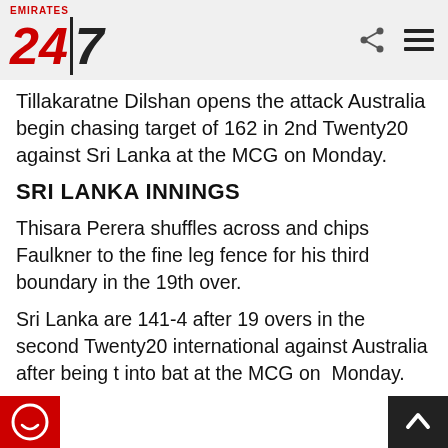Emirates 24|7
Tillakaratne Dilshan opens the attack Australia begin chasing target of 162 in 2nd Twenty20 against Sri Lanka at the MCG on Monday.
SRI LANKA INNINGS
Thisara Perera shuffles across and chips Faulkner to the fine leg fence for his third boundary in the 19th over.
Sri Lanka are 141-4 after 19 overs in the second Twenty20 international against Australia after being t into bat at the MCG on Monday.